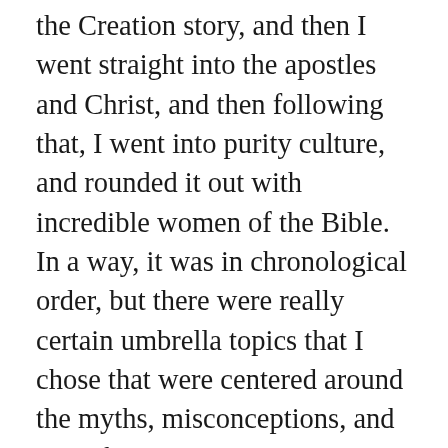the Creation story, and then I went straight into the apostles and Christ, and then following that, I went into purity culture, and rounded it out with incredible women of the Bible. In a way, it was in chronological order, but there were really certain umbrella topics that I chose that were centered around the myths, misconceptions, and misinformation that I was constantly hearing, which people often say is why they left the Church. I wanted to really hone in on those things specifically. I'm sure there was so much more that we could have covered and could have unpacked but people don't have long attention spans; I was very adamant about keeping this film one hour long. Most importantly, it